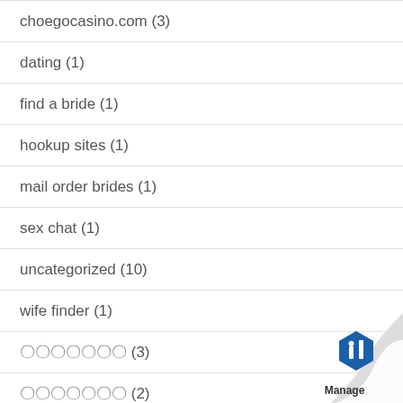choegocasino.com (3)
dating (1)
find a bride (1)
hookup sites (1)
mail order brides (1)
sex chat (1)
uncategorized (10)
wife finder (1)
???????? (3)
???????? (2)
?????????? (1)
?????? (1)
[Figure (logo): Page curl watermark in bottom-right corner with blue Manage engine logo]